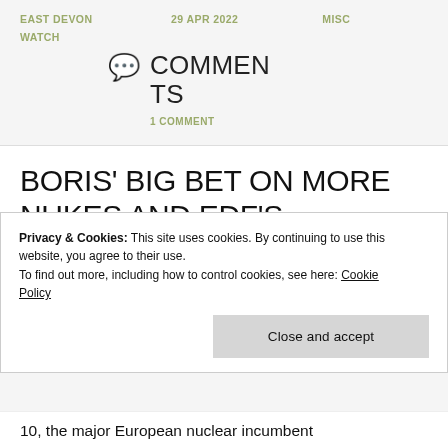EAST DEVON WATCH  29 APR 2022  MISC
COMMENTS
1 COMMENT
BORIS' BIG BET ON MORE NUKES AND EDF'S NUCLEAR BOMBSHELL
Privacy & Cookies: This site uses cookies. By continuing to use this website, you agree to their use.
To find out more, including how to control cookies, see here: Cookie Policy
Close and accept
10, the major European nuclear incumbent